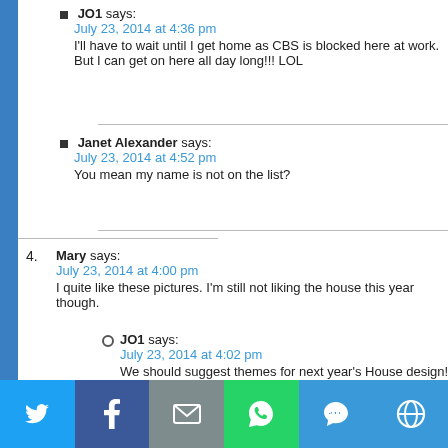JO1 says:
July 23, 2014 at 4:36 pm
I'll have to wait until I get home as CBS is blocked here at work. But I can get on here all day long!!! LOL
Janet Alexander says:
July 23, 2014 at 4:52 pm
You mean my name is not on the list?
4. Mary says:
July 23, 2014 at 4:00 pm
I quite like these pictures. I'm still not liking the house this year though.
JO1 says:
July 23, 2014 at 4:02 pm
We should suggest themes for next year's House design!
BigBrotherCat says:
July 23, 2014 at 4:05 pm
Like what? 🙂